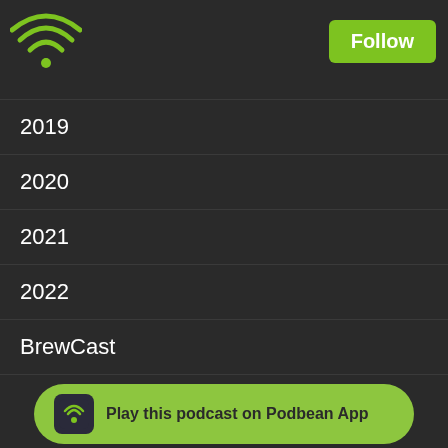[Figure (logo): Podbean wifi/podcast logo in green on dark header bar]
Follow
2019
2020
2021
2022
BrewCast
Election 2016
Free Range
Members Only
Out d'Coup
Out d'Cou...
Out d'Coup Live
Play this podcast on Podbean App